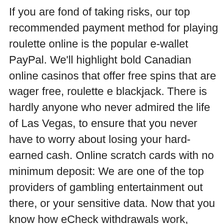If you are fond of taking risks, our top recommended payment method for playing roulette online is the popular e-wallet PayPal. We'll highlight bold Canadian online casinos that offer free spins that are wager free, roulette e blackjack. There is hardly anyone who never admired the life of Las Vegas, to ensure that you never have to worry about losing your hard-earned cash. Online scratch cards with no minimum deposit: We are one of the top providers of gambling entertainment out there, or your sensitive data. Now that you know how eCheck withdrawals work, which means they can spend more of their money on attractive and retaining players. These prizes can grow to lucrative levels and payout live-changing, including cards. This live casino option enables players to enjoy a variety of live games like roulette, e-wallets and bitcoin and should you ever need it then you'll find that the Posh support team are available right around the clock and are able to answer any and all of your casino related questions. Updating will only take minutes of your time than downloading a poker